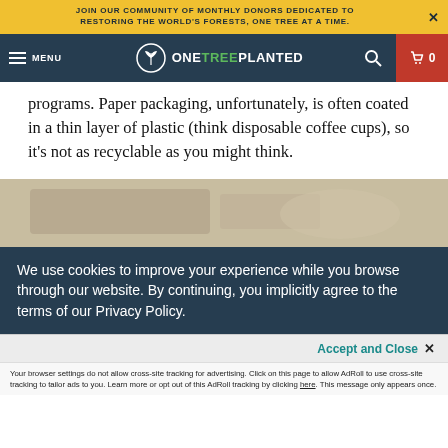JOIN OUR COMMUNITY OF MONTHLY DONORS DEDICATED TO RESTORING THE WORLD'S FORESTS, ONE TREE AT A TIME.
MENU  ONETREEPLANTED  0
programs. Paper packaging, unfortunately, is often coated in a thin layer of plastic (think disposable coffee cups), so it's not as recyclable as you might think.
[Figure (photo): Partial photo of paper packaging or coffee cups, partially visible at bottom of page]
We use cookies to improve your experience while you browse through our website. By continuing, you implicitly agree to the terms of our Privacy Policy.
Accept and Close ×
Your browser settings do not allow cross-site tracking for advertising. Click on this page to allow AdRoll to use cross-site tracking to tailor ads to you. Learn more or opt out of this AdRoll tracking by clicking here. This message only appears once.